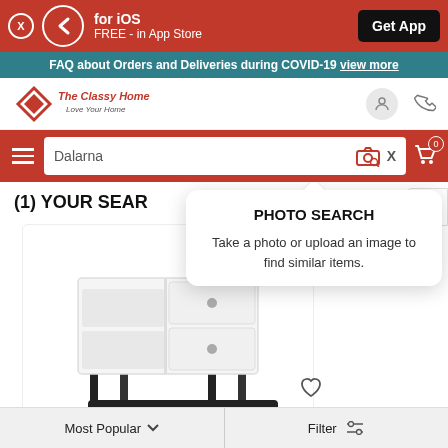for iOS FREE - in App Store Get App
FAQ about Orders and Deliveries during COVID-19 view more
[Figure (screenshot): The Classy Home logo with diamond shape and tagline Love Your Home]
Dalarna
[Figure (infographic): Photo Search tooltip: PHOTO SEARCH - Take a photo or upload an image to find similar items.]
(1) YOUR SEAR
[Figure (photo): White mid-century modern TV stand with drawers and black tapered legs]
SEARCH SIMILAR
Most Popular  Filter